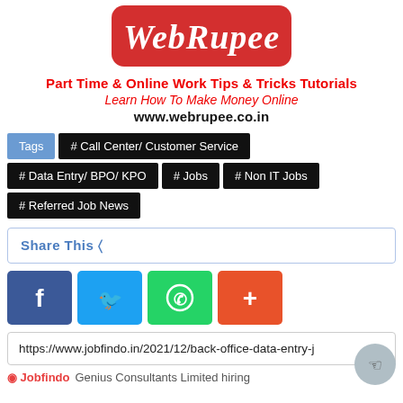[Figure (logo): WebRupee logo — white cursive text on red rounded rectangle]
Part Time & Online Work Tips & Tricks Tutorials
Learn How To Make Money Online
www.webrupee.co.in
Tags  # Call Center/ Customer Service  # Data Entry/ BPO/ KPO  # Jobs  # Non IT Jobs  # Referred Job News
Share This
[Figure (infographic): Social share icons: Facebook, Twitter, WhatsApp, More (+)]
https://www.jobfindo.in/2021/12/back-office-data-entry-j
Jobfindo  Genius Consultants Limited hiring